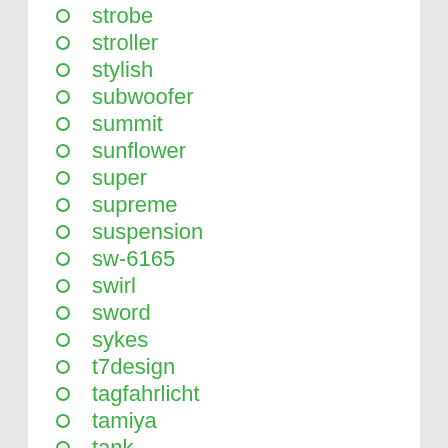strobe
stroller
stylish
subwoofer
summit
sunflower
super
supreme
suspension
sw-6165
swirl
sword
sykes
t7design
tagfahrlicht
tamiya
tank
tanki